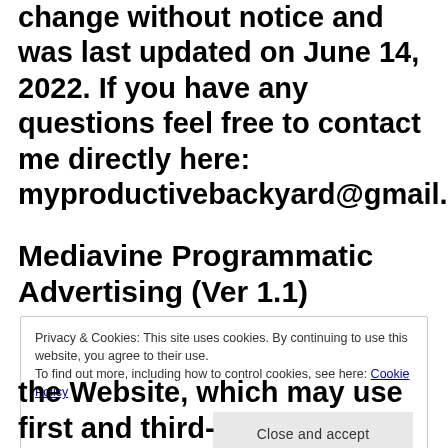This privacy policy is subject to change without notice and was last updated on June 14, 2022. If you have any questions feel free to contact me directly here: myproductivebackyard@gmail.com.
Mediavine Programmatic Advertising (Ver 1.1)
Privacy & Cookies: This site uses cookies. By continuing to use this website, you agree to their use. To find out more, including how to control cookies, see here: Cookie Policy
the Website, which may use first and third-